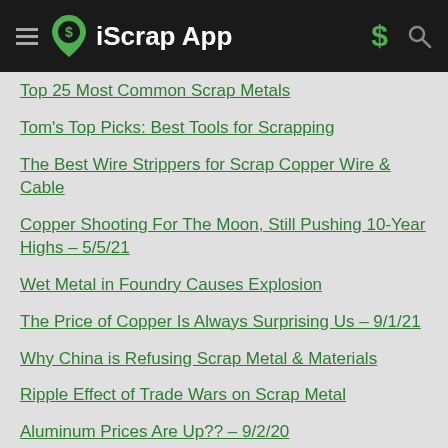iScrap App
Top 25 Most Common Scrap Metals
Tom's Top Picks: Best Tools for Scrapping
The Best Wire Strippers for Scrap Copper Wire & Cable
Copper Shooting For The Moon, Still Pushing 10-Year Highs – 5/5/21
Wet Metal in Foundry Causes Explosion
The Price of Copper Is Always Surprising Us – 9/1/21
Why China is Refusing Scrap Metal & Materials
Ripple Effect of Trade Wars on Scrap Metal
Aluminum Prices Are Up?? – 9/2/20